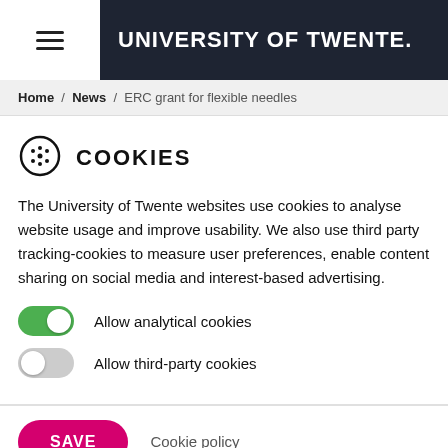UNIVERSITY OF TWENTE.
Home / News / ERC grant for flexible needles
COOKIES
The University of Twente websites use cookies to analyse website usage and improve usability. We also use third party tracking-cookies to measure user preferences, enable content sharing on social media and interest-based advertising.
Allow analytical cookies
Allow third-party cookies
SAVE
Cookie policy